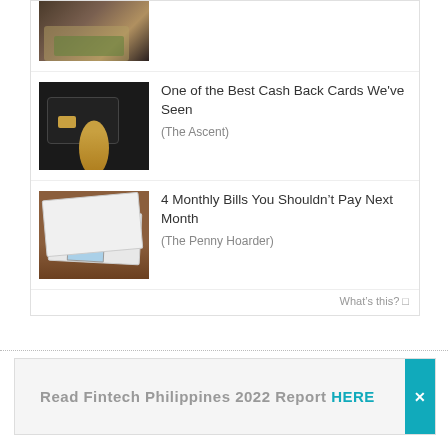[Figure (photo): Partial thumbnail of hands holding cash money, cropped at top]
[Figure (photo): Credit card held by a gold hand statue against dark background]
One of the Best Cash Back Cards We've Seen
(The Ascent)
[Figure (photo): Envelopes with money on wooden table surface]
4 Monthly Bills You Shouldn’t Pay Next Month
(The Penny Hoarder)
What's this?
Read Fintech Philippines 2022 Report HERE